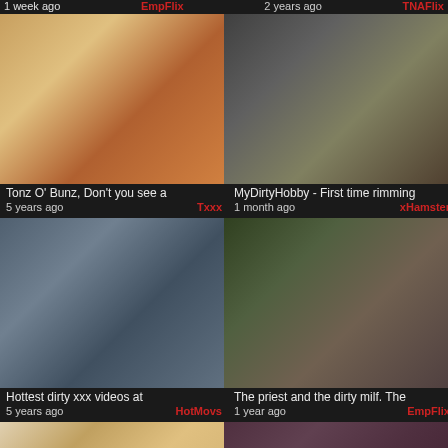1 week ago | EmpFlix | 2 years ago | TNAFlix
[Figure (photo): Blonde woman in red sitting on steps outdoors]
[Figure (photo): Close-up adult content image]
Tonz O' Bunz, Don't you see a
5 years ago | Txxx
MyDirtyHobby - First time rimming
1 month ago | xHamster
[Figure (photo): Two women in a living room scene]
[Figure (photo): Woman on couch in lingerie]
Hottest dirty xxx videos at
5 years ago | HotMovs
The priest and the dirty milf. The
1 year ago | EmpFlix
[Figure (photo): Blonde woman close-up]
[Figure (photo): Brunette woman close-up]